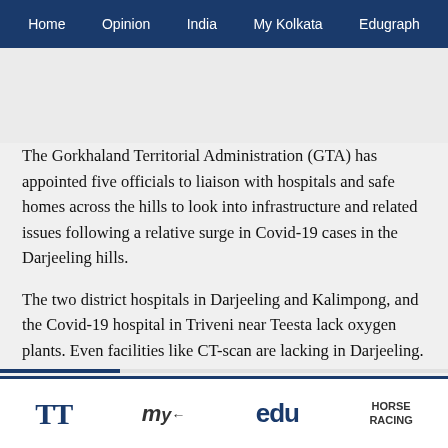Home  Opinion  India  My Kolkata  Edugraph
The Gorkhaland Territorial Administration (GTA) has appointed five officials to liaison with hospitals and safe homes across the hills to look into infrastructure and related issues following a relative surge in Covid-19 cases in the Darjeeling hills.
The two district hospitals in Darjeeling and Kalimpong, and the Covid-19 hospital in Triveni near Teesta lack oxygen plants. Even facilities like CT-scan are lacking in Darjeeling.
TT  my  edu  HORSE RACING